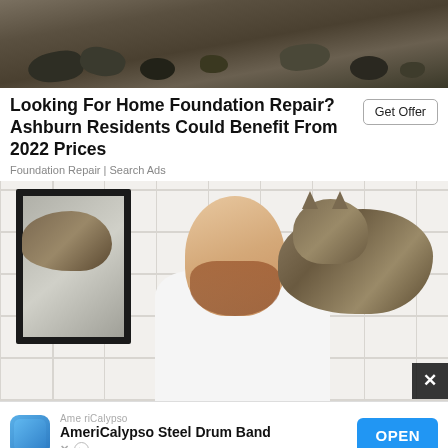[Figure (photo): Photo of construction rubble, rocks and dirt on a demolition/excavation site]
Looking For Home Foundation Repair? Ashburn Residents Could Benefit From 2022 Prices
Foundation Repair | Search Ads
[Figure (photo): Photo of a smiling bearded man looking up at a tabby cat perched on a bathroom counter above him, with a mirror reflecting on the left and white subway tiles in the background]
AmeriCalypso
AmeriCalypso Steel Drum Band